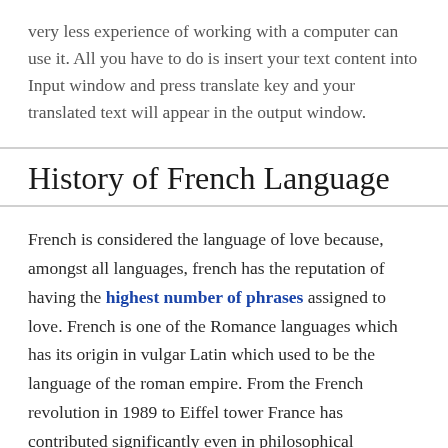very less experience of working with a computer can use it. All you have to do is insert your text content into Input window and press translate key and your translated text will appear in the output window.
History of French Language
French is considered the language of love because, amongst all languages, french has the reputation of having the highest number of phrases assigned to love. French is one of the Romance languages which has its origin in vulgar Latin which used to be the language of the roman empire. From the French revolution in 1989 to Eiffel tower France has contributed significantly even in philosophical literature most famous among them are Enlightenment